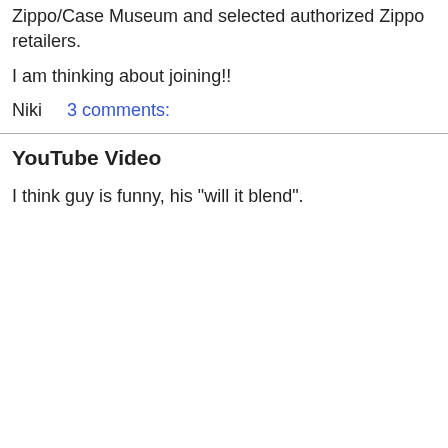Zippo/Case Museum and selected authorized Zippo retailers.
I am thinking about joining!!
Niki    3 comments:
YouTube Video
I think guy is funny, his "will it blend".